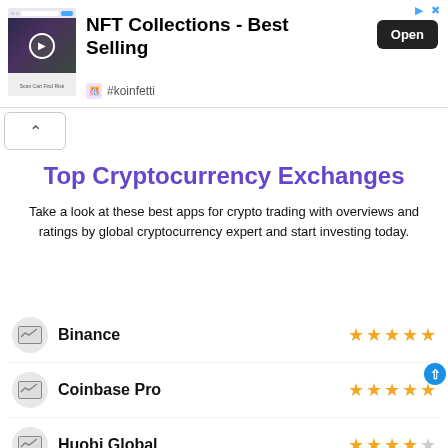[Figure (screenshot): Advertisement banner for NFT Collections app. Shows a screenshot of an app with a dark header, NFT artwork, bold text 'NFT Collections - Best Selling', an 'Open' button, and '#koinfetti' branding. Small ad icons in top right corner.]
[Figure (other): Collapse/chevron-up button in a white rounded rectangle]
Top Cryptocurrency Exchanges
Take a look at these best apps for crypto trading with overviews and ratings by global cryptocurrency expert and start investing today.
Binance — 5 stars
Coinbase Pro — 4.5 stars (with up arrow badge)
Huobi Global — 4 stars
Kraken — 5 stars (partially visible)